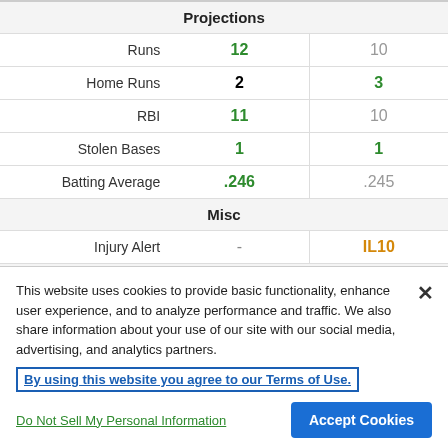|  | Player 1 | Player 2 |
| --- | --- | --- |
| Projections |  |  |
| Runs | 12 | 10 |
| Home Runs | 2 | 3 |
| RBI | 11 | 10 |
| Stolen Bases | 1 | 1 |
| Batting Average | .246 | .245 |
| Misc |  |  |
| Injury Alert | - | IL10 |
| Expert Ranks |  |  |
| Dalton Del Don | # 99 | # 101 |
This website uses cookies to provide basic functionality, enhance user experience, and to analyze performance and traffic. We also share information about your use of our site with our social media, advertising, and analytics partners.
By using this website you agree to our Terms of Use.
Do Not Sell My Personal Information
Accept Cookies